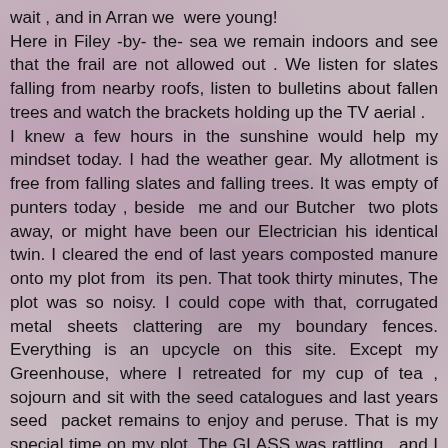wait , and in Arran we  were young! Here in Filey -by- the- sea we remain indoors and see that the frail are not allowed out . We listen for slates falling from nearby roofs, listen to bulletins about fallen trees and watch the brackets holding up the TV aerial . I knew a few hours in the sunshine would help my mindset today. I had the weather gear. My allotment is free from falling slates and falling trees. It was empty of punters today , beside  me and our Butcher  two plots away, or might have been our Electrician his identical twin. I cleared the end of last years composted manure onto my plot from  its pen. That took thirty minutes, The plot was so noisy. I could cope with that, corrugated metal sheets clattering are my boundary fences. Everything is an upcycle on this site. Except my Greenhouse, where I retreated for my cup of tea , sojourn and sit with the seed catalogues and last years seed  packet remains to enjoy and peruse. That is my special time on my plot. The GLASS was rattling , and I just couldn't stand the noise of it. It had already seemed a miracle that no panes had shattered so far, and when one goes and the wind enters the greenhouse, other panes follow. The slightest gap in the door was making it worse, and even